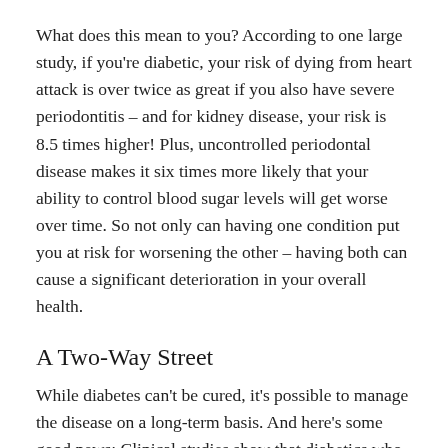What does this mean to you? According to one large study, if you're diabetic, your risk of dying from heart attack is over twice as great if you also have severe periodontitis – and for kidney disease, your risk is 8.5 times higher! Plus, uncontrolled periodontal disease makes it six times more likely that your ability to control blood sugar levels will get worse over time. So not only can having one condition put you at risk for worsening the other – having both can cause a significant deterioration in your overall health.
A Two-Way Street
While diabetes can't be cured, it's possible to manage the disease on a long-term basis. And here's some good news: Clinical studies show that diabetics who get effective treatment for their periodontal disease also receive some